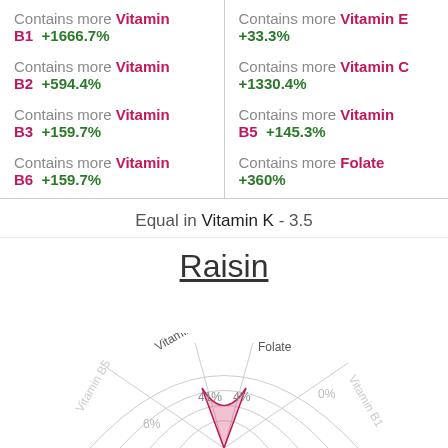Contains more Vitamin B1 +1666.7%
Contains more Vitamin B2 +594.4%
Contains more Vitamin B3 +159.7%
Contains more Vitamin B6 +159.7%
Contains more Vitamin E +33.3%
Contains more Vitamin C +1330.4%
Contains more Vitamin B5 +145.3%
Contains more Folate +360%
Equal in Vitamin K - 3.5
Raisin
[Figure (radar-chart): Radar chart for Raisin showing Vitamin B6 (41%), Folate (4%), Vitamin B5 (6%), Vitamin B1 (0%) axes visible at bottom of page]